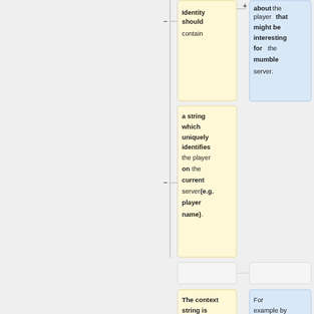[Figure (flowchart): A flowchart/tree diagram showing nodes with text. Top area shows a yellow node 'Identity should contain' connected with a minus symbol, and a blue node 'about the player that might be interesting for the mumble server.' connected with a plus symbol. Middle area shows a yellow node 'a string which uniquely identifies the player on the current server (e.g. player name).' with a minus connector. Bottom area shows two empty grey boxes, and below them a yellow node starting 'The context string is used to' and a blue node starting 'For example by including'.]